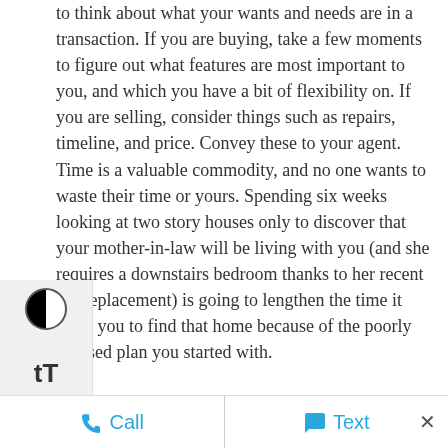to think about what your wants and needs are in a transaction. If you are buying, take a few moments to figure out what features are most important to you, and which you have a bit of flexibility on. If you are selling, consider things such as repairs, timeline, and price. Convey these to your agent. Time is a valuable commodity, and no one wants to waste their time or yours. Spending six weeks looking at two story houses only to discover that your mother-in-law will be living with you (and she requires a downstairs bedroom thanks to her recent hip replacement) is going to lengthen the time it takes you to find that home because of the poorly focused plan you started with.
Be fair. Real estate does not have to be a win-lose game. Yes, sellers always want more money for their properties, and buyers are looking for a better deal. But at the end of
Call   Text